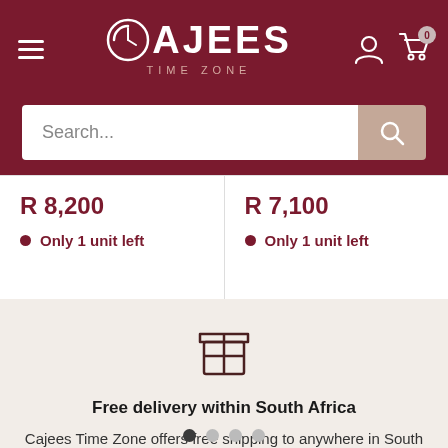[Figure (logo): Cajees Time Zone logo with clock icon on dark red header background]
Search...
R 8,200
Only 1 unit left
R 7,100
Only 1 unit left
[Figure (illustration): Package/box delivery icon outline]
Free delivery within South Africa
Cajees Time Zone offers free shipping to anywhere in South Africa for all orders over R750.